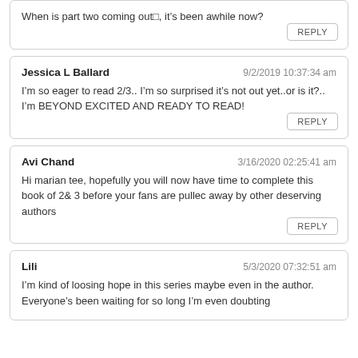When is part two coming out□, it’s been awhile now?
REPLY
Jessica L Ballard
9/2/2019 10:37:34 am
I'm so eager to read 2/3.. I'm so surprised it's not out yet..or is it?.. I'm BEYOND EXCITED AND READY TO READ!
REPLY
Avi Chand
3/16/2020 02:25:41 am
Hi marian tee, hopefully you will now have time to complete this book of 2& 3 before your fans are pullec away by other deserving authors
REPLY
Lili
5/3/2020 07:32:51 am
I'm kind of loosing hope in this series maybe even in the author. Everyone's been waiting for so long I'm even doubting